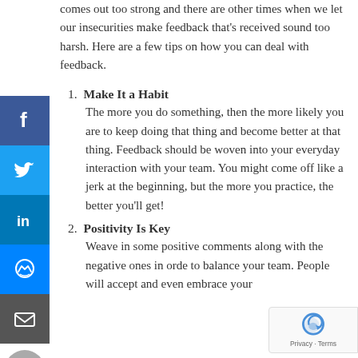comes out too strong and there are other times when we let our insecurities make feedback that's received sound too harsh. Here are a few tips on how you can deal with feedback.
1. Make It a Habit
The more you do something, then the more likely you are to keep doing that thing and become better at that thing. Feedback should be woven into your everyday interaction with your team. You might come off like a jerk at the beginning, but the more you practice, the better you'll get!
2. Positivity Is Key
Weave in some positive comments along with the negative ones in order to balance your team. People will accept and even embrace your feedback that way.